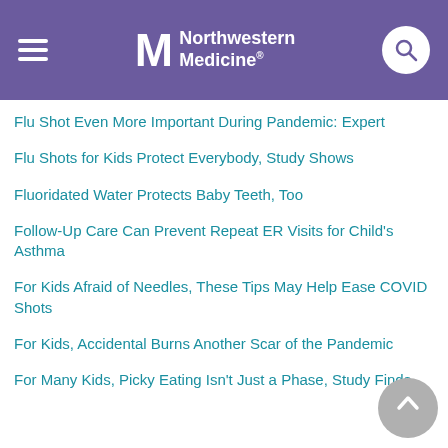Northwestern Medicine
Flu Shot Even More Important During Pandemic: Expert
Flu Shots for Kids Protect Everybody, Study Shows
Fluoridated Water Protects Baby Teeth, Too
Follow-Up Care Can Prevent Repeat ER Visits for Child's Asthma
For Kids Afraid of Needles, These Tips May Help Ease COVID Shots
For Kids, Accidental Burns Another Scar of the Pandemic
For Many Kids, Picky Eating Isn't Just a Phase, Study Finds